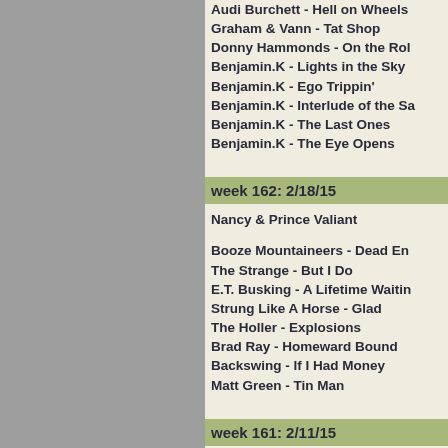Audi Burchett - Hell on Wheels
Graham & Vann - Tat Shop
Donny Hammonds - On the Roll
Benjamin.K - Lights in the Sky
Benjamin.K - Ego Trippin'
Benjamin.K - Interlude of the Sa
Benjamin.K - The Last Ones
Benjamin.K - The Eye Opens
week 162: 2/18/15
Nancy & Prince Valiant
Booze Mountaineers - Dead End
The Strange - But I Do
E.T. Busking - A Lifetime Waitin
Strung Like A Horse - Glad
The Holler - Explosions
Brad Ray - Homeward Bound
Backswing - If I Had Money
Matt Green - Tin Man
week 161: 2/11/15
guests: WeDunIt